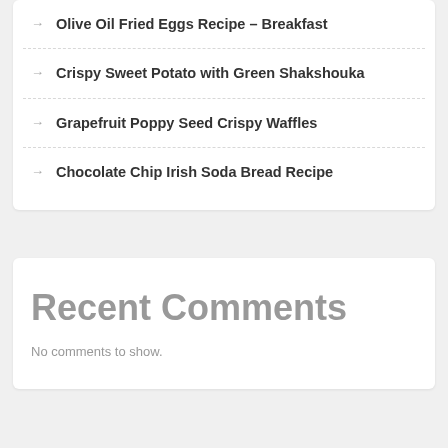Olive Oil Fried Eggs Recipe – Breakfast
Crispy Sweet Potato with Green Shakshouka
Grapefruit Poppy Seed Crispy Waffles
Chocolate Chip Irish Soda Bread Recipe
Recent Comments
No comments to show.